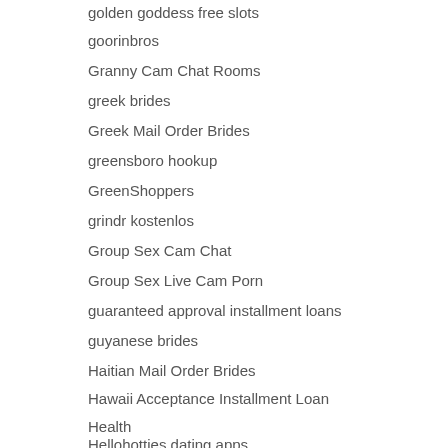golden goddess free slots
goorinbros
Granny Cam Chat Rooms
greek brides
Greek Mail Order Brides
greensboro hookup
GreenShoppers
grindr kostenlos
Group Sex Cam Chat
Group Sex Live Cam Porn
guaranteed approval installment loans
guyanese brides
Haitian Mail Order Brides
Hawaii Acceptance Installment Loan
Health
Hellohotties dating apps